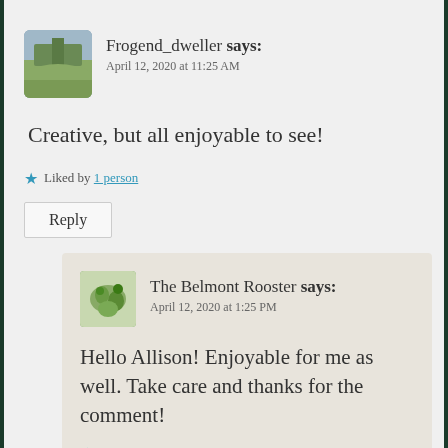Frogend_dweller says: April 12, 2020 at 11:25 AM
Creative, but all enjoyable to see!
Liked by 1 person
Reply
The Belmont Rooster says: April 12, 2020 at 1:25 PM
Hello Allison! Enjoyable for me as well. Take care and thanks for the comment!
Liked by 1 person